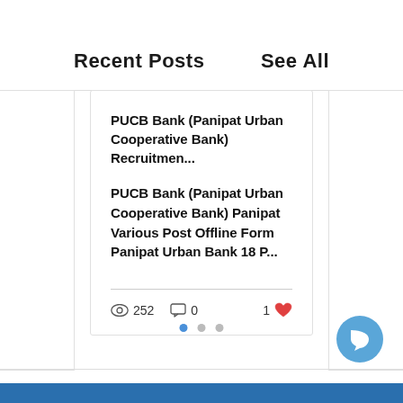Recent Posts
See All
PUCB Bank (Panipat Urban Cooperative Bank) Recruitmen...
PUCB Bank (Panipat Urban Cooperative Bank) Panipat Various Post Offline Form Panipat Urban Bank 18 P...
252 views  0 comments  1 like